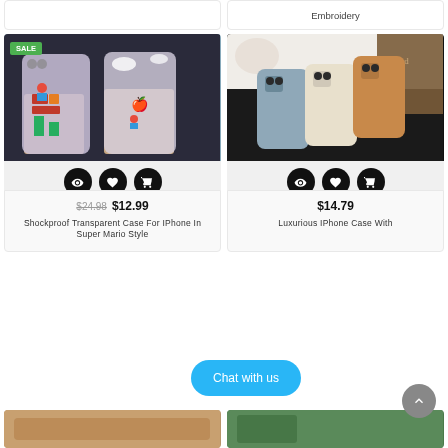[Figure (photo): Partial top-left product card, white]
Embroidery
[Figure (photo): Super Mario style transparent iPhone case, held in hands, with 3D character elements]
[Figure (photo): Luxurious fabric-textured iPhone cases in grey, cream, and brown laid on dark surface]
$24.98 $12.99
Shockproof Transparent Case For IPhone In Super Mario Style
$14.79
Luxurious IPhone Case With
[Figure (photo): Partial bottom-left product card]
[Figure (photo): Partial bottom-right product card]
Chat with us